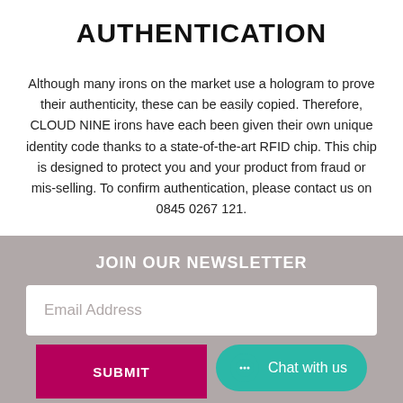AUTHENTICATION
Although many irons on the market use a hologram to prove their authenticity, these can be easily copied. Therefore, CLOUD NINE irons have each been given their own unique identity code thanks to a state-of-the-art RFID chip. This chip is designed to protect you and your product from fraud or mis-selling. To confirm authentication, please contact us on 0845 0267 121.
JOIN OUR NEWSLETTER